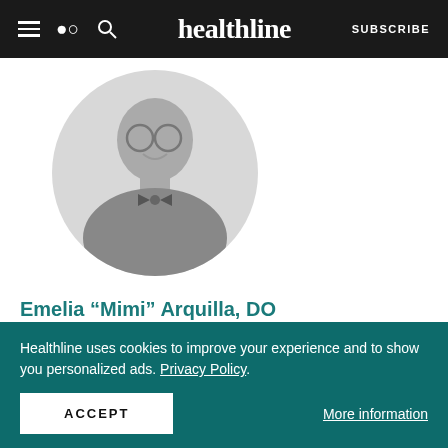healthline — SUBSCRIBE
[Figure (photo): Black and white circular headshot photo of Dr. Emelia Mimi Arquilla, DO, wearing glasses, a bow tie, and a blazer, smiling.]
Emelia “Mimi” Arquilla, DO
Dr. Emelia “Mimi” Arquilla is an ABMS board certified family medicine physician. They are an assistant
Healthline uses cookies to improve your experience and to show you personalized ads. Privacy Policy.
ACCEPT
More information